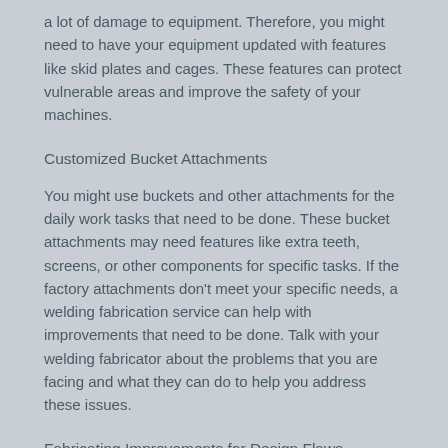a lot of damage to equipment. Therefore, you might need to have your equipment updated with features like skid plates and cages. These features can protect vulnerable areas and improve the safety of your machines.
Customized Bucket Attachments
You might use buckets and other attachments for the daily work tasks that need to be done. These bucket attachments may need features like extra teeth, screens, or other components for specific tasks. If the factory attachments don't meet your specific needs, a welding fabrication service can help with improvements that need to be done. Talk with your welding fabricator about the problems that you are facing and what they can do to help you address these issues.
Fabricating Improvements for Design Flaws
Another problem that you might need to deal with is the factory design of a machine. Sometimes, there are errors in designs or issues that were overlooked that cause problems in the field. A welding fabrication service can help make changes to the design of the machinery to improve its functionality and help you get